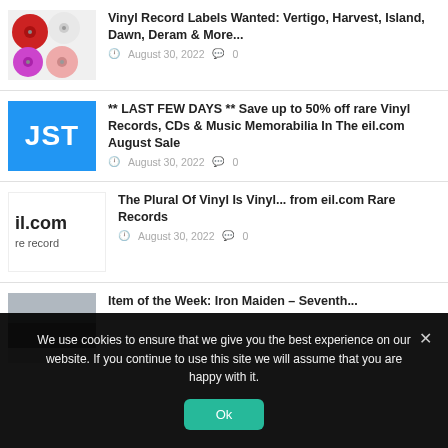[Figure (photo): Thumbnail showing vinyl record labels]
Vinyl Record Labels Wanted: Vertigo, Harvest, Island, Dawn, Deram & More...
August 30, 2022  0
[Figure (logo): JST logo on blue background]
** LAST FEW DAYS ** Save up to 50% off rare Vinyl Records, CDs & Music Memorabilia In The eil.com August Sale
August 30, 2022  0
[Figure (logo): eil.com rare records logo]
The Plural Of Vinyl Is Vinyl... from eil.com Rare Records
August 30, 2022  0
[Figure (photo): Thumbnail for Iron Maiden article]
Item of the Week: Iron Maiden – Seventh...
We use cookies to ensure that we give you the best experience on our website. If you continue to use this site we will assume that you are happy with it.